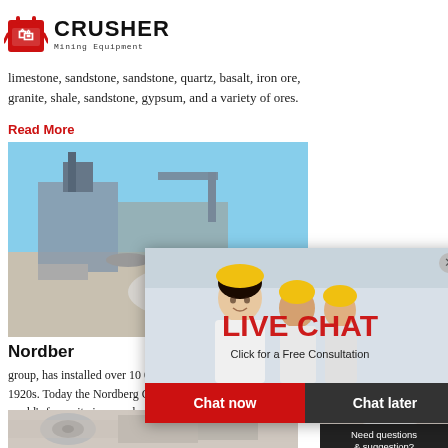[Figure (logo): Crusher Mining Equipment logo with red shopping bag icon and bold CRUSHER text]
limestone, sandstone, sandstone, quartz, basalt, iron ore, granite, shale, sandstone, gypsum, and a variety of ores.
Read More
[Figure (photo): Mining equipment / crusher machinery at a quarry site under blue sky]
Nordber...
group, has installed over 10 000 jaw crushers since the 1920s. Today the Nordberg C Series is indisputably the world's favourite jaw crusher. Where cost-efficient reduc-tion of hard, abrasive materials is concerned, these crushers represent the highest tech-nical and manufacturing knowledge. All C Series jaw crushers are based...
Read More
[Figure (screenshot): Live Chat popup overlay showing workers in yellow hard hats, LIVE CHAT title in red, Chat now and Chat later buttons]
[Figure (photo): Right sidebar: woman with headset, 24Hrs Online banner, Need questions & suggestion chat button, Enquiry link, limingjlmofen@sina.com email]
[Figure (photo): Bottom image strip of machinery]